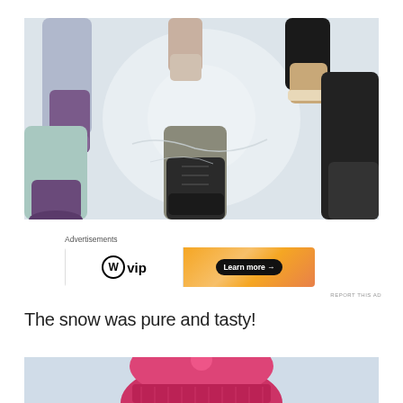[Figure (photo): Overhead view of several people's feet and legs in winter boots standing in a circle on snow]
Advertisements
[Figure (other): WordPress VIP advertisement banner with orange gradient background and 'Learn more →' button]
REPORT THIS AD
The snow was pure and tasty!
[Figure (photo): Partial photo of a child in a pink winter hat]